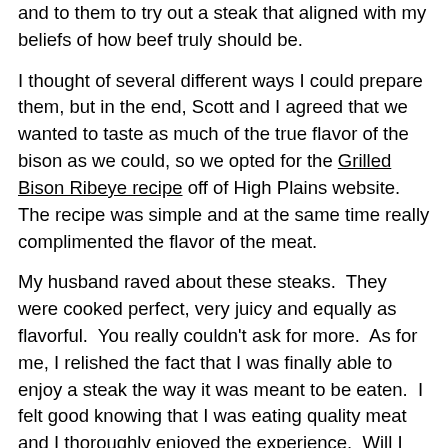and to them to try out a steak that aligned with my beliefs of how beef truly should be.
I thought of several different ways I could prepare them, but in the end, Scott and I agreed that we wanted to taste as much of the true flavor of the bison as we could, so we opted for the Grilled Bison Ribeye recipe off of High Plains website.  The recipe was simple and at the same time really complimented the flavor of the meat.
My husband raved about these steaks.  They were cooked perfect, very juicy and equally as flavorful.  You really couldn't ask for more.  As for me, I relished the fact that I was finally able to enjoy a steak the way it was meant to be eaten.  I felt good knowing that I was eating quality meat and I thoroughly enjoyed the experience.  Will I give up my red meat ways?  Probably not.  But what I will say is that whenever I get that occasional craving for a piece of red meat, I now know where I'll be turning.
High Plains Bison's Recipe for Grilled Ribeye Steak
2 High Plains Bison Ribeye Steaks